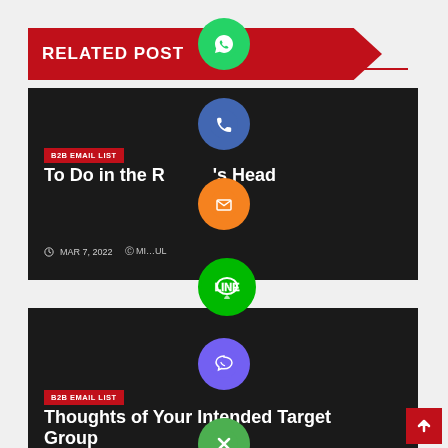RELATED POST
[Figure (screenshot): Social sharing floating buttons: WhatsApp (green), Phone (blue), Email (orange), LINE (green), Viber (purple), Close (green with X)]
[Figure (screenshot): Blog post card 1 on dark background with red B2B EMAIL LIST tag, title 'To Do in the Reader's Head', date MAR 7, 2022]
B2B EMAIL LIST
To Do in the Reader's Head
MAR 7, 2022  MI...UL
[Figure (screenshot): Blog post card 2 on dark background with red B2B EMAIL LIST tag, title 'Thoughts of Your Intended Target Group']
B2B EMAIL LIST
Thoughts of Your Intended Target Group